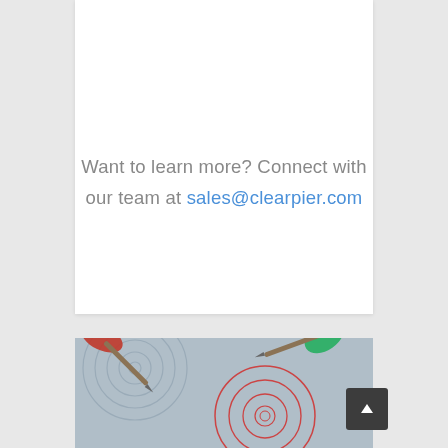Want to learn more? Connect with our team at sales@clearpier.com
BY JENNY DUONG
[Figure (photo): Photo of two darts stuck in a dartboard target, one red and one green, on a blue-gray background with circular target rings]